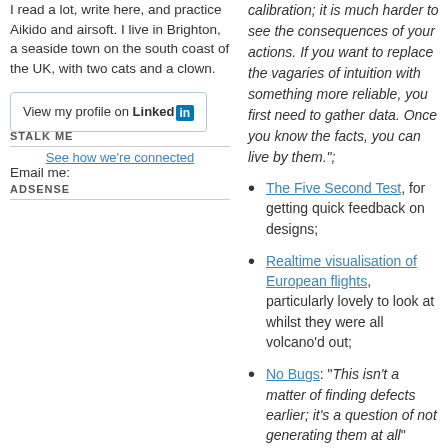I read a lot, write here, and practice Aikido and airsoft. I live in Brighton, a seaside town on the south coast of the UK, with two cats and a clown.
[Figure (other): LinkedIn profile button with 'View my profile on Linked in' text and LinkedIn logo]
See how we're connected
ADSENSE
STALK ME
Email me:
calibration; it is much harder to see the consequences of your actions. If you want to replace the vagaries of intuition with something more reliable, you first need to gather data. Once you know the facts, you can live by them.";
The Five Second Test, for getting quick feedback on designs;
Realtime visualisation of European flights, particularly lovely to look at whilst they were all volcano'd out;
No Bugs: "This isn't a matter of finding defects earlier; it's a question of not generating them at all"
Designing for iPad - a pile...